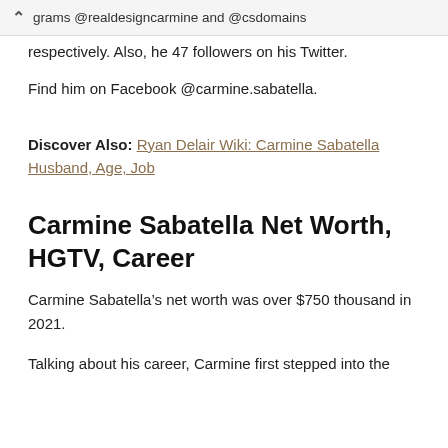grams @realdesigncarmine and @csdomains respectively. Also, he 47 followers on his Twitter.
respectively. Also, he 47 followers on his Twitter.
Find him on Facebook @carmine.sabatella.
Discover Also: Ryan Delair Wiki: Carmine Sabatella Husband, Age, Job
Carmine Sabatella Net Worth, HGTV, Career
Carmine Sabatella’s net worth was over $750 thousand in 2021.
Talking about his career, Carmine first stepped into the